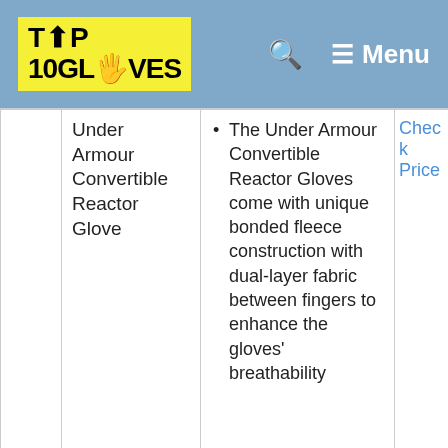TOP 10 GLOVES — Menu
|  | Product | Pros |  |
| --- | --- | --- | --- |
|  | Under Armour Convertible Reactor Glove | The Under Armour Convertible Reactor Gloves come with unique bonded fleece construction with dual-layer fabric between fingers to enhance the gloves' breathability | Check Price |